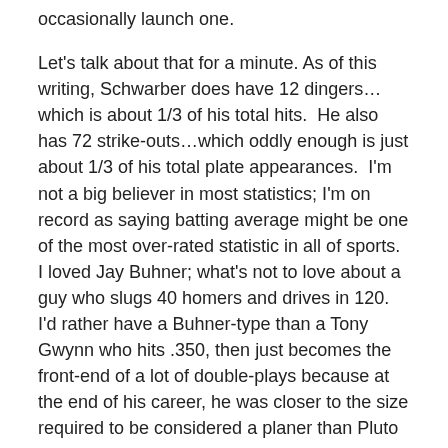occasionally launch one.
Let's talk about that for a minute. As of this writing, Schwarber does have 12 dingers…which is about 1/3 of his total hits.  He also has 72 strike-outs…which oddly enough is just about 1/3 of his total plate appearances.  I'm not a big believer in most statistics; I'm on record as saying batting average might be one of the most over-rated statistic in all of sports.  I loved Jay Buhner; what's not to love about a guy who slugs 40 homers and drives in 120.  I'd rather have a Buhner-type than a Tony Gwynn who hits .350, then just becomes the front-end of a lot of double-plays because at the end of his career, he was closer to the size required to be considered a planer than Pluto is.
If you extrapolate Schwarber's' current numbers overt a